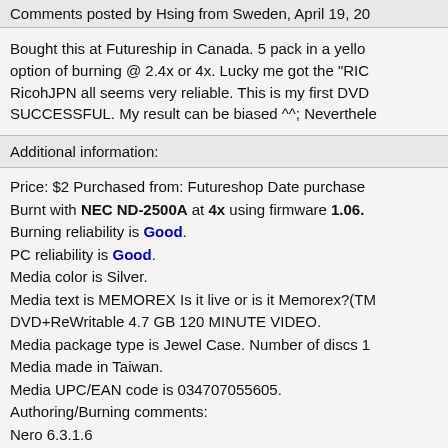Comments posted by Hsing from Sweden, April 19, 2...
Bought this at Futureship in Canada. 5 pack in a yello... option of burning @ 2.4x or 4x. Lucky me got the "RIC... RicohJPN all seems very reliable. This is my first DVD... SUCCESSFUL. My result can be biased ^^; Neverthele...
Additional information:
Price: $2 Purchased from: Futureshop Date purchase... Burnt with NEC ND-2500A at 4x using firmware 1.06. Burning reliability is Good. PC reliability is Good. Media color is Silver. Media text is MEMOREX Is it live or is it Memorex?(TM... DVD+ReWritable 4.7 GB 120 MINUTE VIDEO. Media package type is Jewel Case. Number of discs 1... Media made in Taiwan. Media UPC/EAN code is 034707055605. Authoring/Burning comments: Nero 6.3.1.6